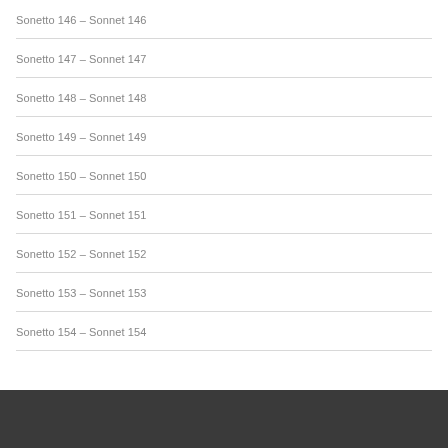Sonetto 146 – Sonnet 146
Sonetto 147 – Sonnet 147
Sonetto 148 – Sonnet 148
Sonetto 149 – Sonnet 149
Sonetto 150 – Sonnet 150
Sonetto 151 – Sonnet 151
Sonetto 152 – Sonnet 152
Sonetto 153 – Sonnet 153
Sonetto 154 – Sonnet 154